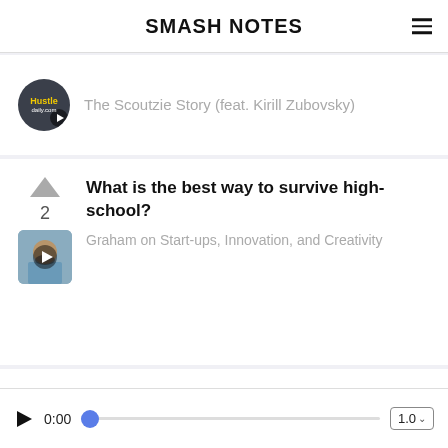SMASH NOTES
The Scoutzie Story (feat. Kirill Zubovsky)
What is the best way to survive high-school?
Graham on Start-ups, Innovation, and Creativity
0:00  1.0